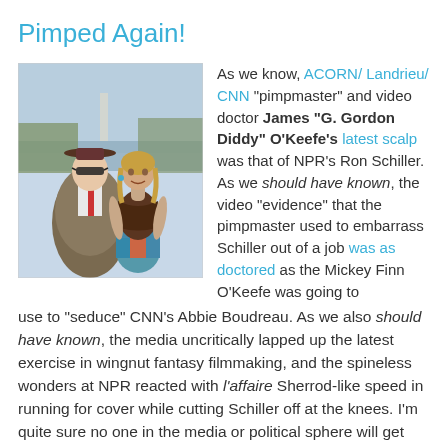Pimped Again!
[Figure (photo): Two people posing outdoors. A man wearing a fur coat, red tie, dark sunglasses and a brimmed hat, and a woman in a brown leather halter top and colorful skirt. Monument/reflecting pool visible in background.]
As we know, ACORN/ Landrieu/ CNN "pimpmaster" and video doctor James "G. Gordon Diddy" O'Keefe's latest scalp was that of NPR's Ron Schiller. As we should have known, the video "evidence" that the pimpmaster used to embarrass Schiller out of a job was as doctored as the Mickey Finn O'Keefe was going to use to "seduce" CNN's Abbie Boudreau. As we also should have known, the media uncritically lapped up the latest exercise in wingnut fantasy filmmaking, and the spineless wonders at NPR reacted with l'affaire Sherrod-like speed in running for cover while cutting Schiller off at the knees. I'm quite sure no one in the media or political sphere will get played by the pimpmaster again! Kudos all around!